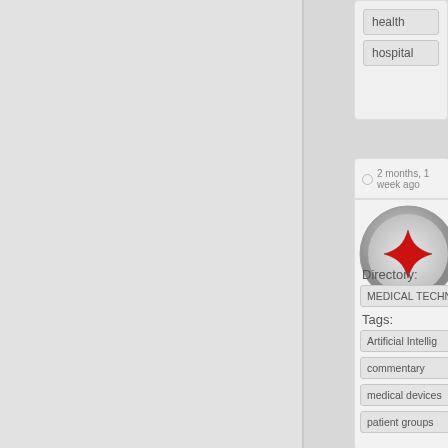health
hospital
2 months, 1 week ago
[Figure (logo): Red cross/star medical logo in circular metallic frame]
Should MedTech patients?
HEALTHPAD
Directory:
MEDICAL TECHN
Tags:
Artificial Intellig
commentary
medical devices
patient groups
[Figure (photo): Blurred photo of a patient in a medical setting]